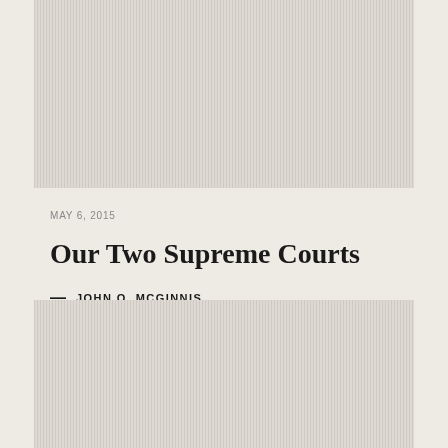[Figure (illustration): Gray vertically striped decorative block at top of page, serving as article header image placeholder]
MAY 6, 2015
Our Two Supreme Courts
— JOHN O. MCGINNIS
[Figure (illustration): Gray vertically striped decorative block at bottom of page, serving as secondary image placeholder]